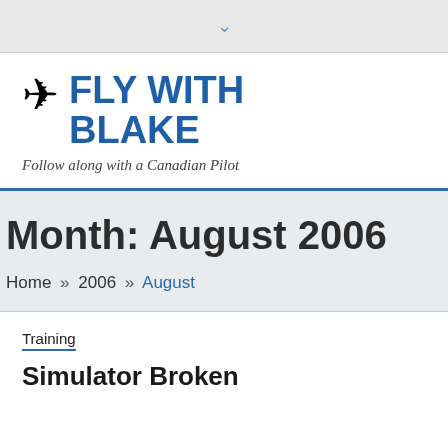▾
✈ FLY WITH BLAKE
Follow along with a Canadian Pilot
Month: August 2006
Home » 2006 » August
Training
Simulator Broken